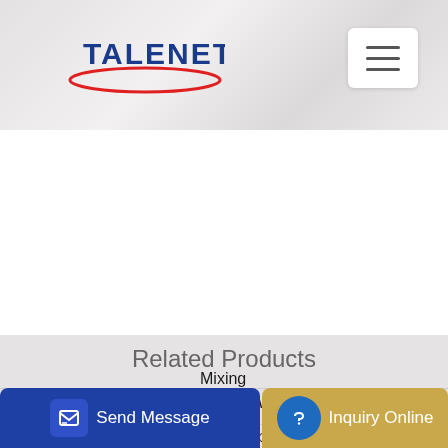TALENET
Related Products
New Rexroth 23109431 for SCHWING-MAIN concrete pump
Mobile concrete mixing plant Mobile concrete batching plant
Mixing